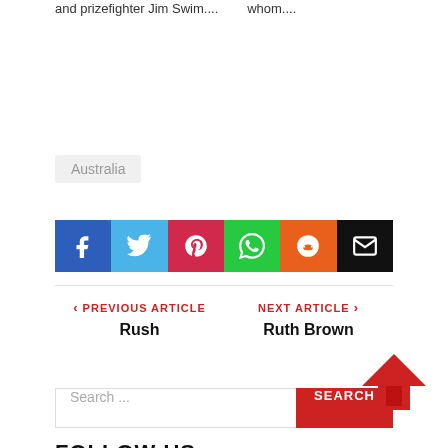and prizefighter Jim Swim.... whom....
Australia
[Figure (infographic): Social share buttons: Facebook (blue), Twitter (light blue), Pinterest (red), WhatsApp (green), Reddit (orange), Email (black)]
< PREVIOUS ARTICLE   Rush        NEXT ARTICLE >   Ruth Brown
Search ...
FOLLOW US